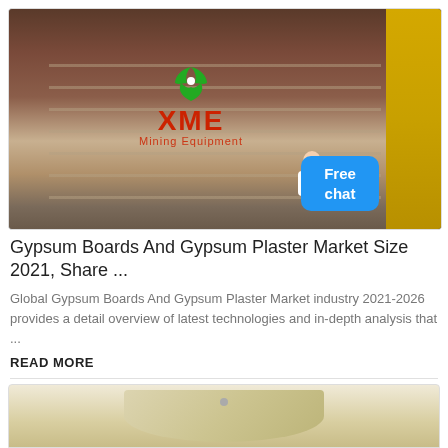[Figure (photo): Industrial mining equipment photo with XME Mining Equipment logo (green recycling icon, red XME text) watermarked in center. Yellow machinery visible on right side. A 'Free chat' button in blue and a female avatar appear in bottom-right corner.]
Gypsum Boards And Gypsum Plaster Market Size 2021, Share ...
Global Gypsum Boards And Gypsum Plaster Market industry 2021-2026 provides a detail overview of latest technologies and in-depth analysis that ...
READ MORE
[Figure (photo): Partial view of a cream/beige colored cylindrical or curved industrial object, partially cropped at bottom of page.]